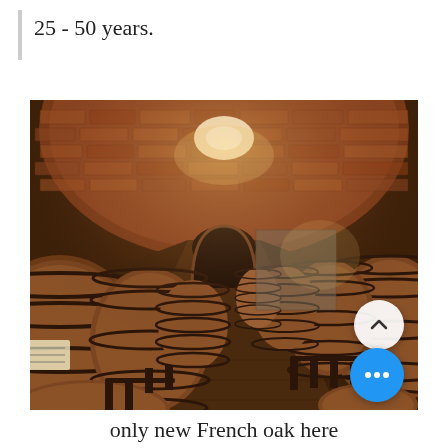25 - 50 years.
[Figure (photo): Wine cellar with rows of large oak barrels on both sides of a long corridor with brick vaulted ceiling arches, illuminated by overhead lighting, with a dark doorway at the far end.]
only new French oak here